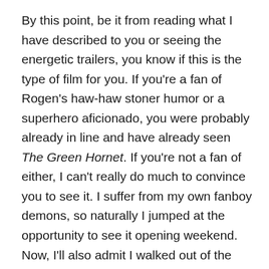By this point, be it from reading what I have described to you or seeing the energetic trailers, you know if this is the type of film for you. If you're a fan of Rogen's haw-haw stoner humor or a superhero aficionado, you were probably already in line and have already seen The Green Hornet. If you're not a fan of either, I can't really do much to convince you to see it. I suffer from my own fanboy demons, so naturally I jumped at the opportunity to see it opening weekend. Now, I'll also admit I walked out of the theater with a big grin slapped across my face. The film is cartoonish mayhem at it's absolute finest. And Gondry can't resist spicing the film up with his trademark surreal flare. The action scenes are inspired, resembling something out of a video game (Kato hones in on all of the baddies weapons that they are wielding). Rogen never snaps out of his along-for-the-ride shtick and some will